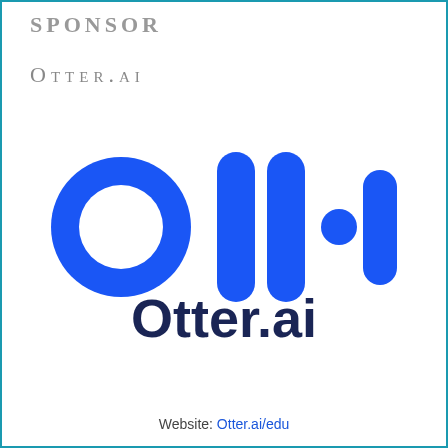SPONSOR
OTTER.AI
[Figure (logo): Otter.ai logo: blue abstract waveform/sound icon with rounded bar shapes and a circle, followed by the text 'Otter.ai' in dark navy bold sans-serif font]
Website: Otter.ai/edu